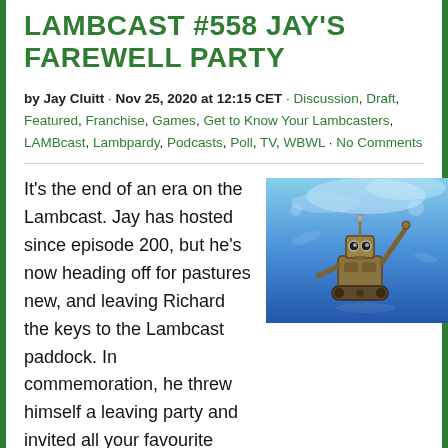LAMBCAST #558 JAY'S FAREWELL PARTY
by Jay Cluitt · Nov 25, 2020 at 12:15 CET · Discussion, Draft, Featured, Franchise, Games, Get to Know Your Lambcasters, LAMBcast, Lambpardy, Podcasts, Poll, TV, WBWL · No Comments
[Figure (photo): WALL-E robot character underwater or in a blue environment, from the Pixar film WALL-E]
It's the end of an era on the Lambcast. Jay has hosted since episode 200, but he's now heading off for pastures new, and leaving Richard the keys to the Lambcast paddock. In commemoration, he threw himself a leaving party and invited all your favourite Lambcast guests to join in the fun! This show is the longest in Lambcast history, over 4